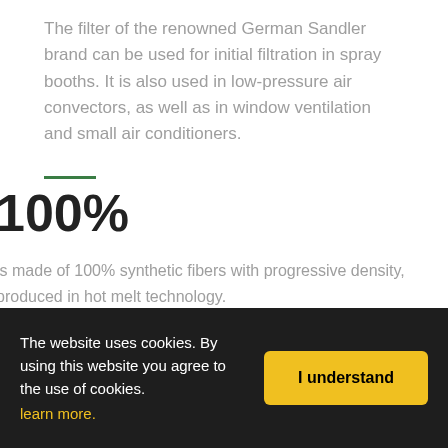The filter of the renowned German Sandler brand can be used for initial filtration in spray booths. It is also used in low-pressure air convectors, as well as in window ventilation and small air conditioners.
100%
is made of 100% synthetic fibers with progressive density, produced in hot melt technology.
The website uses cookies. By using this website you agree to the use of cookies. learn more.